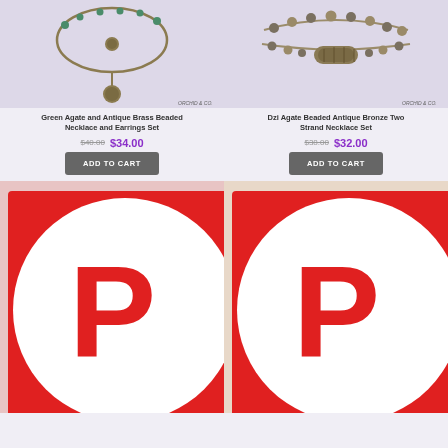[Figure (photo): Green Agate and Antique Brass Beaded Necklace product photo on white background]
[Figure (photo): Dzi Agate Beaded Antique Bronze Two Strand Necklace Set product photo on white background]
Green Agate and Antique Brass Beaded Necklace and Earrings Set
Dzi Agate Beaded Antique Bronze Two Strand Necklace Set
$40.00  $34.00
$38.00  $32.00
ADD TO CART
ADD TO CART
[Figure (photo): Hand with purple nails wearing three beaded flower rings - dark purple, pink, and red/bronze]
[Figure (photo): Wrist wearing a golden and pink beaded flower bracelet]